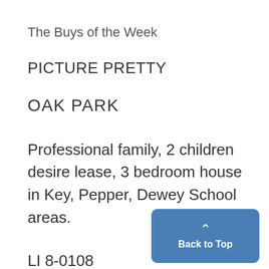The Buys of the Week
PICTURE PRETTY
OAK PARK
Professional family, 2 children desire lease, 3 bedroom house in Key, Pepper, Dewey School areas.
LI 8-0108
FAMILY of 3 needs 3-bedroom home